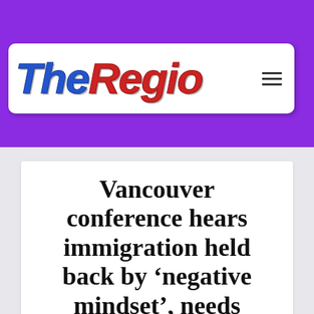[Figure (logo): TheRegion website logo in italic bold text, 'The' in blue and 'Region' in red, on a white rounded rectangle, with purple background and hamburger menu icon]
Vancouver conference hears immigration held back by ‘negative mindset’, needs rethinking
Jun 21, 2022 | BRITISH COLUMBIA, Business, Canada, Living, Marketing, News, Opinions,